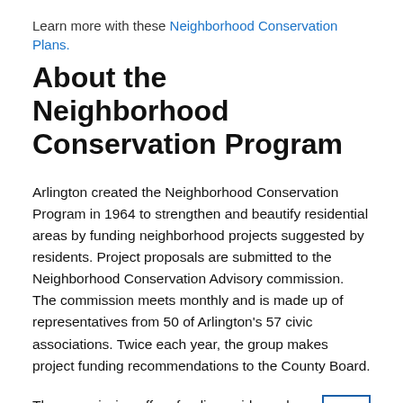Learn more with these Neighborhood Conservation Plans.
About the Neighborhood Conservation Program
Arlington created the Neighborhood Conservation Program in 1964 to strengthen and beautify residential areas by funding neighborhood projects suggested by residents. Project proposals are submitted to the Neighborhood Conservation Advisory commission. The commission meets monthly and is made up of representatives from 50 of Arlington's 57 civic associations. Twice each year, the group makes project funding recommendations to the County Board.
The commission offers funding guidance based on rankings assigned through a point system. Projects receiving the highest point totals are passed on to the